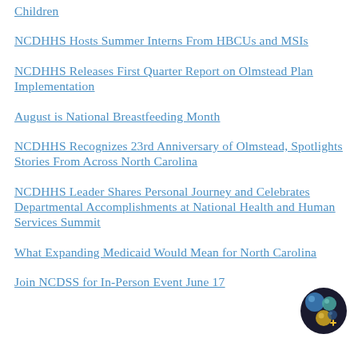Children
NCDHHS Hosts Summer Interns From HBCUs and MSIs
NCDHHS Releases First Quarter Report on Olmstead Plan Implementation
August is National Breastfeeding Month
NCDHHS Recognizes 23rd Anniversary of Olmstead, Spotlights Stories From Across North Carolina
NCDHHS Leader Shares Personal Journey and Celebrates Departmental Accomplishments at National Health and Human Services Summit
What Expanding Medicaid Would Mean for North Carolina
Join NCDSS for In-Person Event June 17
[Figure (logo): Circular logo with colorful spheres/bubbles on dark background]